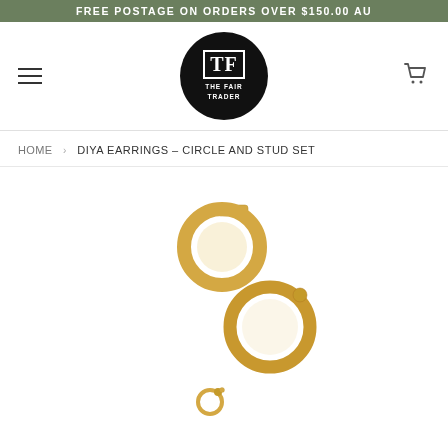FREE POSTAGE ON ORDERS OVER $150.00 AU
[Figure (logo): The Fair Trader logo: black circle with TF monogram in white with white border, and text THE FAIR TRADER below]
HOME › DIYA EARRINGS – CIRCLE AND STUD SET
[Figure (photo): Product photo of gold circle and stud earrings set called Diya Earrings, showing three earring pieces at different angles against white background]